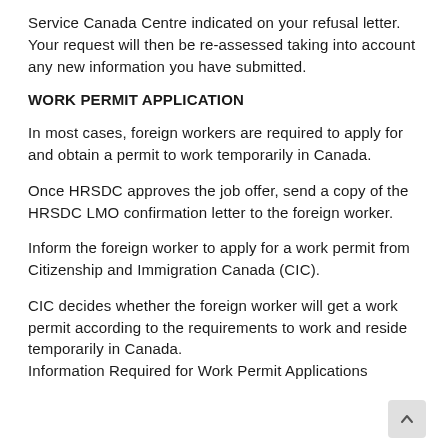Service Canada Centre indicated on your refusal letter. Your request will then be re-assessed taking into account any new information you have submitted.
WORK PERMIT APPLICATION
In most cases, foreign workers are required to apply for and obtain a permit to work temporarily in Canada.
Once HRSDC approves the job offer, send a copy of the HRSDC LMO confirmation letter to the foreign worker.
Inform the foreign worker to apply for a work permit from Citizenship and Immigration Canada (CIC).
CIC decides whether the foreign worker will get a work permit according to the requirements to work and reside temporarily in Canada.
Information Required for Work Permit Applications